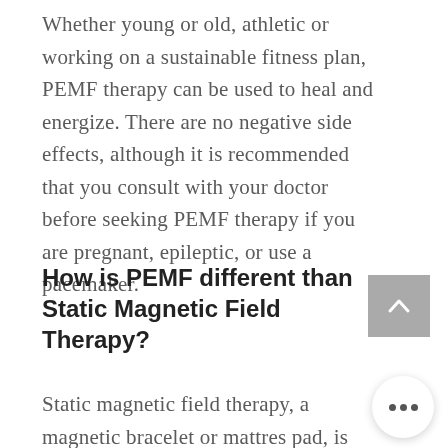Whether young or old, athletic or working on a sustainable fitness plan, PEMF therapy can be used to heal and energize. There are no negative side effects, although it is recommended that you consult with your doctor before seeking PEMF therapy if you are pregnant, epileptic, or use a pacemaker.
How is PEMF different than Static Magnetic Field Therapy?
[Figure (other): Back-to-top button: grey square with upward-pointing chevron arrow]
Static magnetic field therapy, a magnetic bracelet or mattress pad, is much different from PEMF
[Figure (other): More options button: white circle with three horizontal dots]